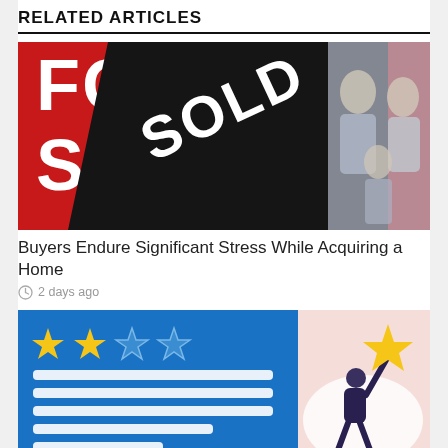RELATED ARTICLES
[Figure (photo): A red 'For Sale' sign with a black 'Sold' banner across it, and a blurred family standing in the background]
Buyers Endure Significant Stress While Acquiring a Home
2 days ago
[Figure (illustration): An illustration featuring a blue rating card with gold and blue stars, white horizontal lines, and a person holding up a large gold star on a pink background]